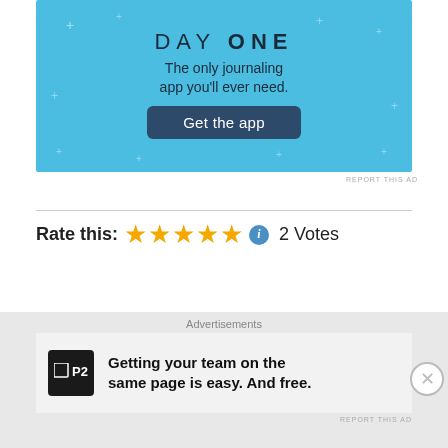[Figure (illustration): Day One journaling app advertisement on light blue background with text 'DAY ONE - The only journaling app you'll ever need.' and a 'Get the app' button]
REPORT THIS AD
Rate this: ★★★★★ ℹ 2 Votes
Share this:
Tweet | Share | Post | Save | Email
[Figure (infographic): Bottom advertisement: P2 logo with text 'Getting your team on the same page is easy. And free.']
Advertisements
REPORT THIS AD